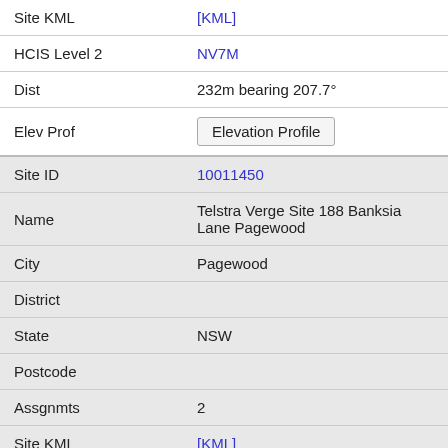| Field | Value |
| --- | --- |
| Site KML | [KML] |
| HCIS Level 2 | NV7M |
| Dist | 232m bearing 207.7° |
| Elev Prof | Elevation Profile |
| Site ID | 10011450 |
| Name | Telstra Verge Site 188 Banksia Lane Pagewood |
| City | Pagewood |
| District |  |
| State | NSW |
| Postcode |  |
| Assgnmts | 2 |
| Site KML | [KML] |
| HCIS Level 2 | NV7M |
| Dist | 237m bearing 273.3° |
| Elev Prof | Elevation Profile |
| Site ID | 10023180 |